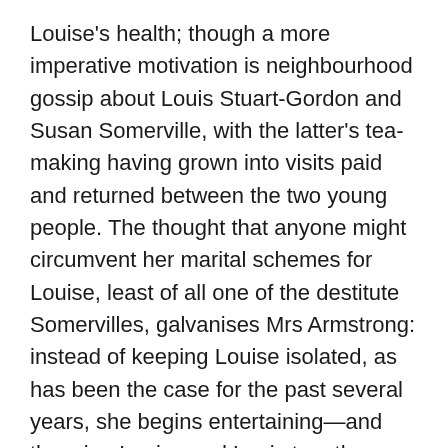Louise's health; though a more imperative motivation is neighbourhood gossip about Louis Stuart-Gordon and Susan Somerville, with the latter's tea-making having grown into visits paid and returned between the two young people. The thought that anyone might circumvent her marital schemes for Louise, least of all one of the destitute Somervilles, galvanises Mrs Armstrong: instead of keeping Louise isolated, as has been the case for the past several years, she begins entertaining—and throwing Louise and Louis together. The two were, in effect, childhood sweethearts, until Mrs Armstrong's jealousy prompted her to kill off the friendship; and it does not take much for them to rediscover those early feelings. They are soon engaged, and then married—on the 22nd February, the day that Louis turns eighteen, and Louise sixteen.
There are two casualties of this arrangement. The first is